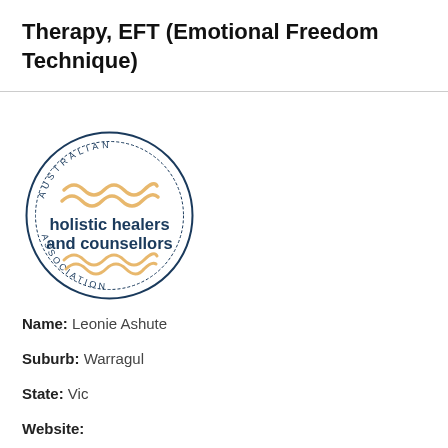Therapy, EFT (Emotional Freedom Technique)
[Figure (logo): Australian Holistic Healers and Counsellors Association circular logo with wavy lines and text around the border]
Name: Leonie Ashute
Suburb: Warragul
State: Vic
Website: